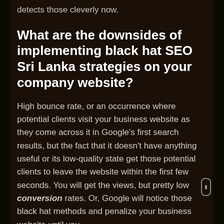detects those cleverly now.
What are the downsides of implementing black hat SEO Sri Lanka strategies on your company website?
High bounce rate, or an occurrence where potential clients visit your business website as they come across it in Google's first search results, but the fact that it doesn't have anything useful or its low-quality state get those potential clients to leave the website within the first few seconds. You will get the views, but pretty low conversion rates. Or, Google will notice those black hat methods and penalize your business website until you